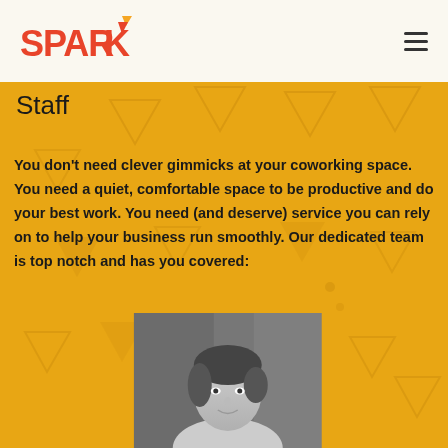SPARK
Staff
You don't need clever gimmicks at your coworking space. You need a quiet, comfortable space to be productive and do your best work. You need (and deserve) service you can rely on to help your business run smoothly. Our dedicated team is top notch and has you covered:
[Figure (photo): Black and white headshot photo of a woman with short hair, smiling slightly, photographed outdoors with blurred background]